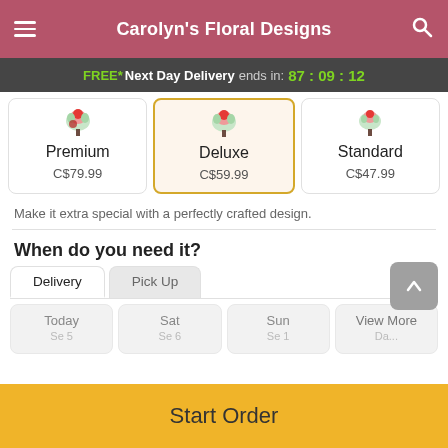Carolyn's Floral Designs
FREE* Next Day Delivery ends in: 87:09:12
[Figure (screenshot): Three product option cards: Premium C$79.99, Deluxe C$59.99 (selected/highlighted), Standard C$47.99, each with a small floral arrangement image]
Make it extra special with a perfectly crafted design.
When do you need it?
Delivery | Pick Up tabs
Today | Sat | Sun | View More dates
Start Order